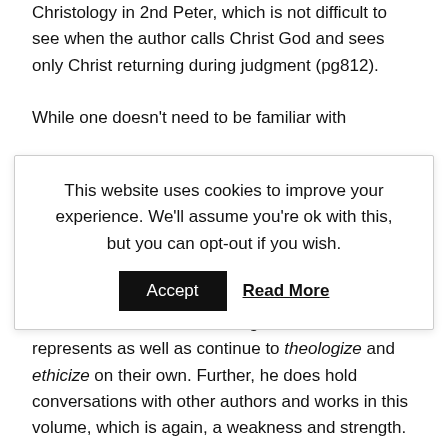Christology in 2nd Peter, which is not difficult to see when the author calls Christ God and sees only Christ returning during judgment (pg812). While one doesn't need to be familiar with
This website uses cookies to improve your experience. We'll assume you're ok with this, but you can opt-out if you wish. [Accept] [Read More]
should take this book for the great worth that it represents as well as continue to theologize and ethicize on their own. Further, he does hold conversations with other authors and works in this volume, which is again, a weakness and strength. He is also strong on the fact that this is written to